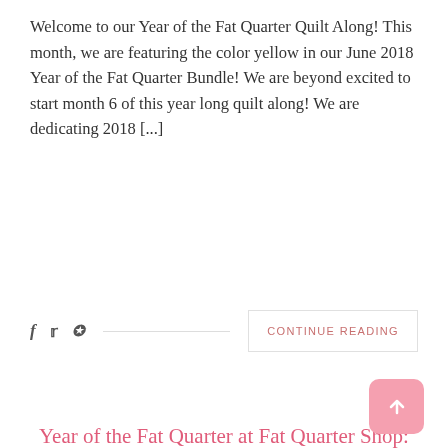Welcome to our Year of the Fat Quarter Quilt Along! This month, we are featuring the color yellow in our June 2018 Year of the Fat Quarter Bundle! We are beyond excited to start month 6 of this year long quilt along! We are dedicating 2018 [...]
CONTINUE READING
Year of the Fat Quarter at Fat Quarter Shop: May
MAY 4, 2018